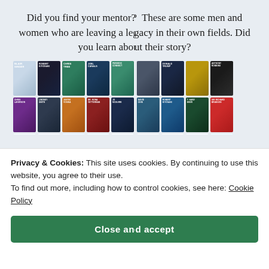Did you find your mentor?  These are some men and women who are leaving a legacy in their own fields. Did you learn about their story?
[Figure (illustration): Two rows of mentor profile cards, each showing a headshot with a colored background and name label. Row 1: Blair Singer, (Robert Kiyosaki), Chris Tree, Joel Canals, (Periodic Connection), (unnamed), Donald Trump, (unnamed), Anthony Robbins. Row 2: Chris Laverson, Lindsey Smith, Justin Vosika, Dr. Nona Vetterman, (Jo McGuire), David Chin, Robert Kiyosaki, T. Harv Eker, Sir Richard Branson.]
Privacy & Cookies: This site uses cookies. By continuing to use this website, you agree to their use.
To find out more, including how to control cookies, see here: Cookie Policy
Close and accept